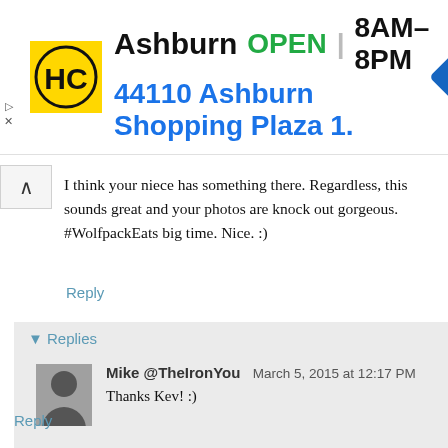[Figure (infographic): Advertisement banner: HC logo (yellow circle with black HC letters), text 'Ashburn OPEN 8AM-8PM 44110 Ashburn Shopping Plaza 1.' and a blue navigation arrow icon]
I think your niece has something there. Regardless, this sounds great and your photos are knock out gorgeous. #WolfpackEats big time. Nice. :)
Reply
▾ Replies
Mike @TheIronYou   March 5, 2015 at 12:17 PM
Thanks Kev! :)
Reply